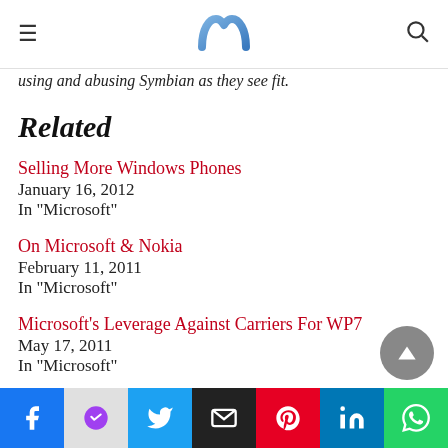[hamburger menu] [logo: m] [search icon]
using and abusing Symbian as they see fit.
Related
Selling More Windows Phones
January 16, 2012
In "Microsoft"
On Microsoft & Nokia
February 11, 2011
In "Microsoft"
Microsoft's Leverage Against Carriers For WP7
May 17, 2011
In "Microsoft"
Facebook | Messenger | Twitter | Email | Pinterest | LinkedIn | WhatsApp